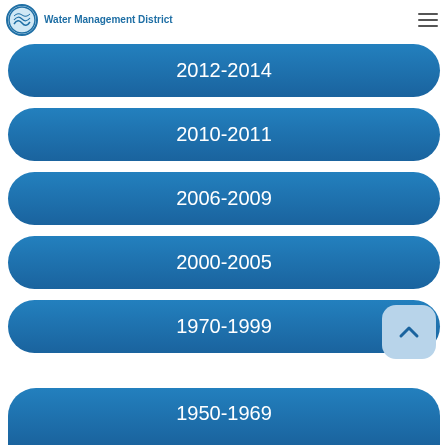Water Management District
2012-2014
2010-2011
2006-2009
2000-2005
1970-1999
1950-1969